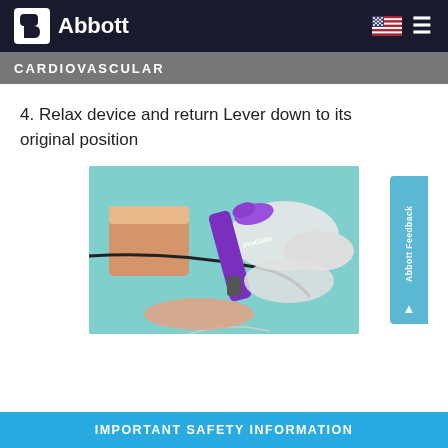Abbott — Cardiovascular
CARDIOVASCULAR
4. Relax device and return Lever down to its original position
[Figure (photo): Medical illustration showing a purple ProGlide vascular closure device being held by gloved hands near a simulated tissue model, with a guidewire visible]
IMPORTANT SAFETY INFORMATION